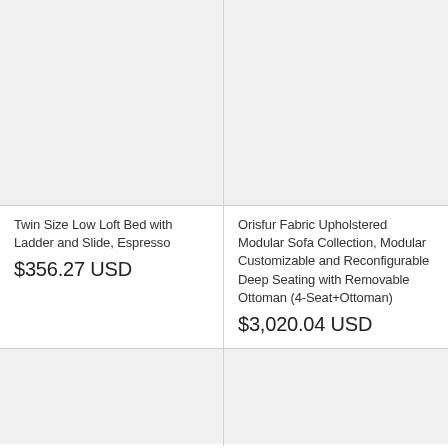[Figure (photo): Product image placeholder for Twin Size Low Loft Bed with Ladder and Slide, Espresso]
Twin Size Low Loft Bed with Ladder and Slide, Espresso
$356.27 USD
[Figure (photo): Product image placeholder for Orisfur Fabric Upholstered Modular Sofa Collection]
Orisfur Fabric Upholstered Modular Sofa Collection, Modular Customizable and Reconfigurable Deep Seating with Removable Ottoman (4-Seat+Ottoman)
$3,020.04 USD
[Figure (photo): Product image placeholder bottom-left]
[Figure (photo): Product image placeholder bottom-right]